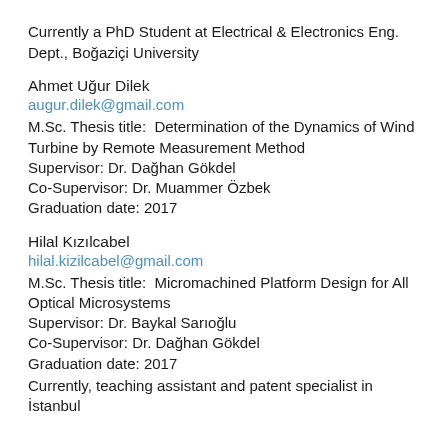Currently a PhD Student at Electrical & Electronics Eng. Dept., Boğaziçi University
Ahmet Uğur Dilek
augur.dilek@gmail.com
M.Sc. Thesis title:  Determination of the Dynamics of Wind Turbine by Remote Measurement Method
Supervisor: Dr. Dağhan Gökdel
Co-Supervisor: Dr. Muammer Özbek
Graduation date: 2017
Hilal Kızılcabel
hilal.kizilcabel@gmail.com
M.Sc. Thesis title:  Micromachined Platform Design for All Optical Microsystems
Supervisor: Dr. Baykal Sarıoğlu
Co-Supervisor: Dr. Dağhan Gökdel
Graduation date: 2017
Currently, teaching assistant and patent specialist in İstanbul